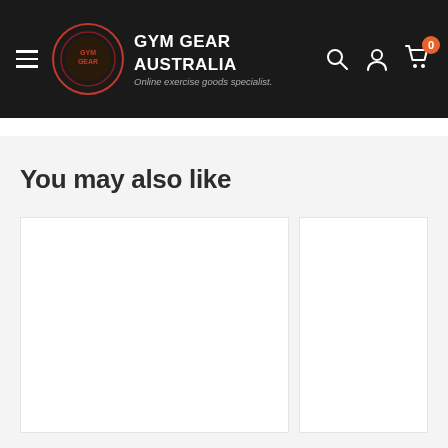GYM GEAR AUSTRALIA — Online exercise goods specialist.
You may also like
[Figure (other): Two white product card placeholders in a 'You may also like' section on a gym equipment e-commerce website]